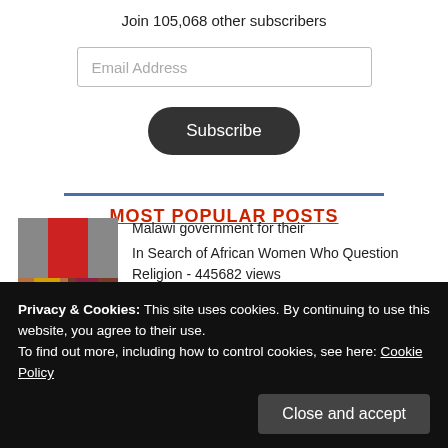Join 105,068 other subscribers
Email Address
Subscribe
MOST POPULAR POSTS
In Search of African Women Who Question Religion - 445682 views
[Figure (photo): Photo of African women]
Privacy & Cookies: This site uses cookies. By continuing to use this website, you agree to their use.
To find out more, including how to control cookies, see here: Cookie Policy
Close and accept
Malawi government for their